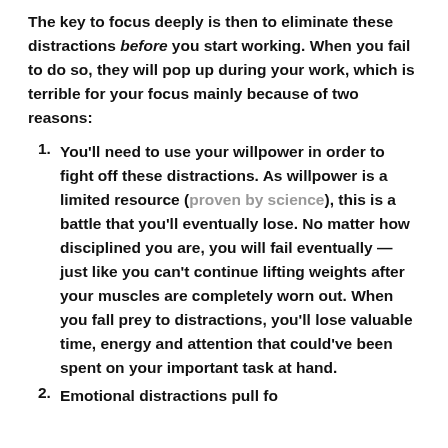The key to focus deeply is then to eliminate these distractions before you start working. When you fail to do so, they will pop up during your work, which is terrible for your focus mainly because of two reasons:
You'll need to use your willpower in order to fight off these distractions. As willpower is a limited resource (proven by science), this is a battle that you'll eventually lose. No matter how disciplined you are, you will fail eventually — just like you can't continue lifting weights after your muscles are completely worn out. When you fall prey to distractions, you'll lose valuable time, energy and attention that could've been spent on your important task at hand.
Emotional distractions pull focus attention...